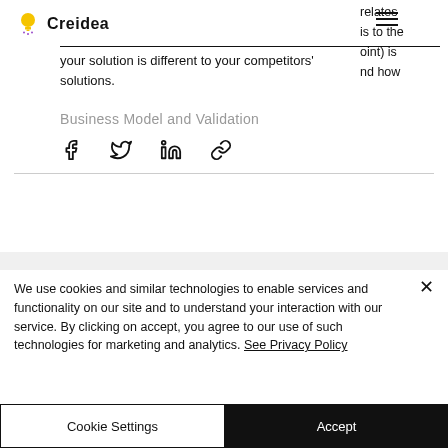Creidea
relates is to the oint) is nd how your solution is different to your competitors' solutions.
Business Model and Validation
[Figure (other): Social media share icons: Facebook, Twitter, LinkedIn, and link/chain icon]
We use cookies and similar technologies to enable services and functionality on our site and to understand your interaction with our service. By clicking on accept, you agree to our use of such technologies for marketing and analytics. See Privacy Policy
Cookie Settings   Accept